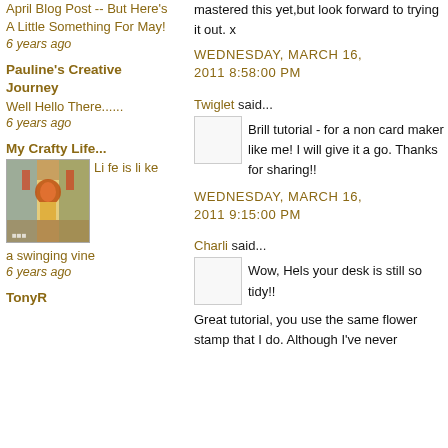April Blog Post -- But Here's A Little Something For May!
6 years ago
Pauline's Creative Journey
Well Hello There......
6 years ago
My Crafty Life...
[Figure (photo): Blog thumbnail image showing a colorful artistic portrait figure]
Life is like a swinging vine
6 years ago
TonyR
mastered this yet,but look forward to trying it out. x
WEDNESDAY, MARCH 16, 2011 8:58:00 PM
Twiglet said...
Brill tutorial - for a non card maker like me! I will give it a go. Thanks for sharing!!
WEDNESDAY, MARCH 16, 2011 9:15:00 PM
Charli said...
Wow, Hels your desk is still so tidy!!
Great tutorial, you use the same flower stamp that I do. Although I've never